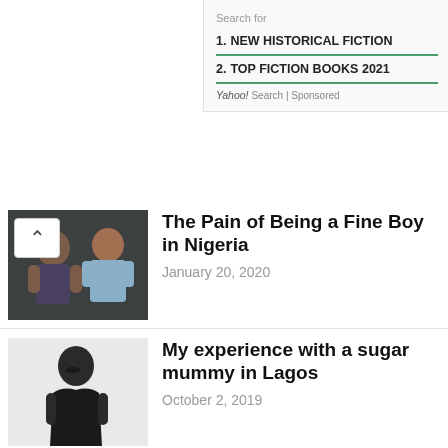Search for
1. NEW HISTORICAL FICTION
2. TOP FICTION BOOKS 2021
Yahoo! Search | Sponsored
[Figure (photo): Two men posing — one shirtless, one in a light blue shirt]
The Pain of Being a Fine Boy in Nigeria
January 20, 2020
[Figure (photo): Woman in a black dress posing on a white background]
My experience with a sugar mummy in Lagos
October 2, 2019
[Figure (photo): Before and after photos of a man — obese on left, fit on right]
Dumped by his wife for being too fat, look at him now
September 25, 2018
[Figure (photo): Partial thumbnail of another article]
If God punished Eve with painful